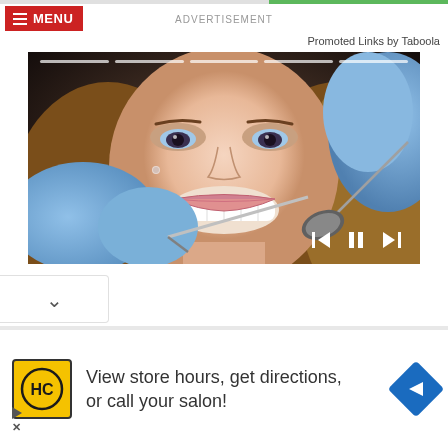MENU
ADVERTISEMENT
Promoted Links by Taboola
[Figure (photo): Dental photo: young woman smiling with white teeth while a dentist in blue latex gloves examines her mouth with dental tools. Video player controls visible at bottom right. Progress bar segments at top.]
[Figure (other): Chevron/arrow down button in a white rounded box]
View store hours, get directions, or call your salon!